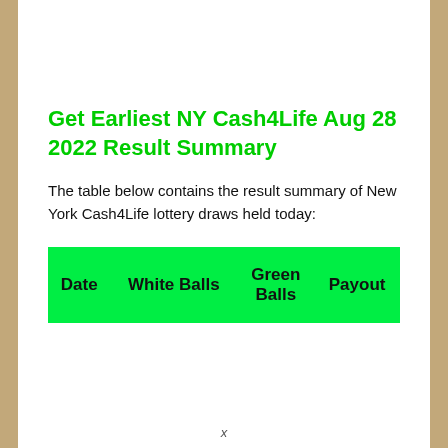Get Earliest NY Cash4Life Aug 28 2022 Result Summary
The table below contains the result summary of New York Cash4Life lottery draws held today:
| Date | White Balls | Green Balls | Payout |
| --- | --- | --- | --- |